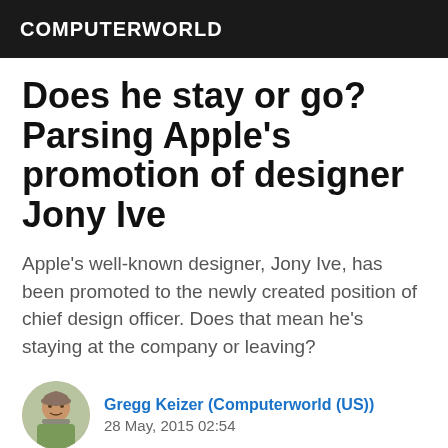COMPUTERWORLD
Does he stay or go? Parsing Apple's promotion of designer Jony Ive
Apple's well-known designer, Jony Ive, has been promoted to the newly created position of chief design officer. Does that mean he's staying at the company or leaving?
Gregg Keizer (Computerworld (US))
28 May, 2015 02:54
[Figure (other): Social share buttons: Facebook, LinkedIn, Twitter]